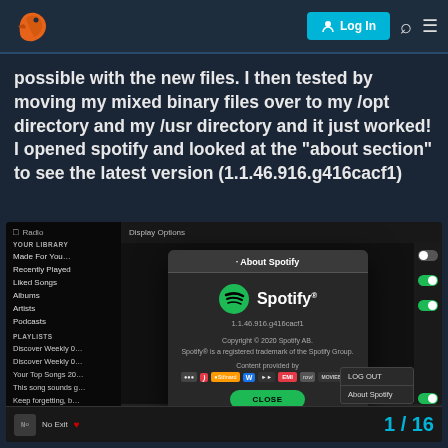Log In [search icon] [menu icon]
possible with the new files. I then tested by moving my mixed binary files over to my /opt directory and my /usr directory and it just worked! I opened spotify and looked at the "about section" to see the latest version (1.1.46.916.g416cacf1)
[Figure (screenshot): Screenshot of the Spotify desktop application showing the 'About Spotify' dialog box. The dialog displays the Spotify logo and version number 1.1.46.916.g416cacf1, copyright notice 'Copyright © 2020 Spotify AB. Spotify® is a registered trademark of the Spotify Group.', content providers section with various logos (EMI, rovi, MOVIEBUFF, etc.), and a green CLOSE button. The left sidebar shows library sections including Made For You, Recently Played, Liked Songs, Albums, Artists, Podcasts, and playlist items. A page counter shows 1/16 in the bottom right.]